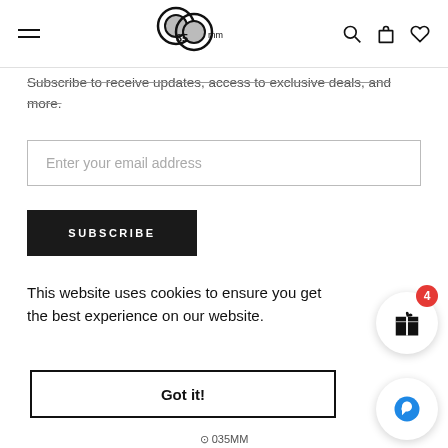35mm camera shop header with hamburger menu, logo, and icons
Subscribe to receive updates, access to exclusive deals, and more.
Enter your email address
SUBSCRIBE
This website uses cookies to ensure you get the best experience on our website.
Got it!
035MM